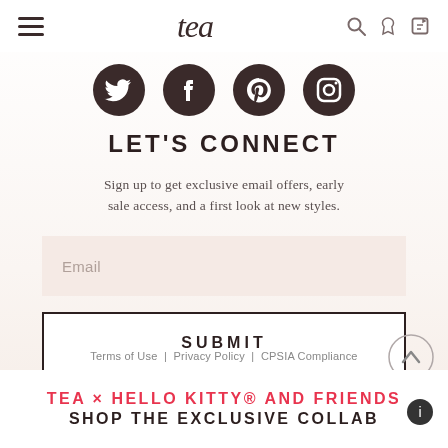tea
[Figure (illustration): Social media icons row: Twitter, Facebook, Pinterest, Instagram — dark brown circular icons]
LET'S CONNECT
Sign up to get exclusive email offers, early sale access, and a first look at new styles.
Email
SUBMIT
Terms of Use | Privacy Policy | CPSIA Compliance
TEA × HELLO KITTY® AND FRIENDS
SHOP THE EXCLUSIVE COLLAB